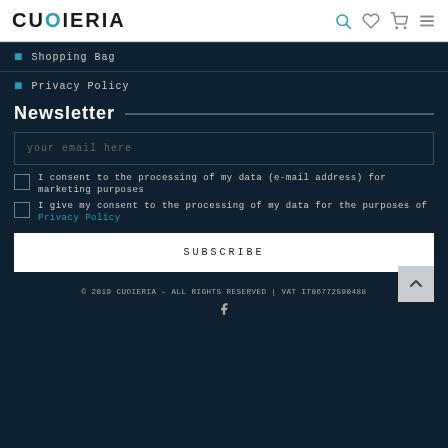CUOIERIA
Shopping Bag
Privacy Policy
Newsletter
your email here
I consent to the processing of my data (e-mail address) for marketing purposes
I give my consent to the processing of my data for the purposes of Privacy Policy
SUBSCRIBE
© 2019 CUOIERIA – ALL RIGHTS RESERVED | VAT IT06772590488